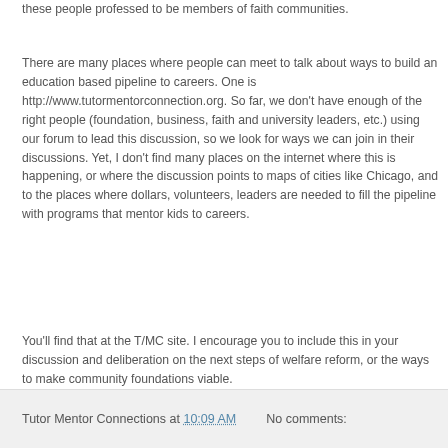these people professed to be members of faith communities.
There are many places where people can meet to talk about ways to build an education based pipeline to careers. One is http://www.tutormentorconnection.org. So far, we don't have enough of the right people (foundation, business, faith and university leaders, etc.) using our forum to lead this discussion, so we look for ways we can join in their discussions. Yet, I don't find many places on the internet where this is happening, or where the discussion points to maps of cities like Chicago, and to the places where dollars, volunteers, leaders are needed to fill the pipeline with programs that mentor kids to careers.
You'll find that at the T/MC site. I encourage you to include this in your discussion and deliberation on the next steps of welfare reform, or the ways to make community foundations viable.
Tutor Mentor Connections at 10:09 AM   No comments: